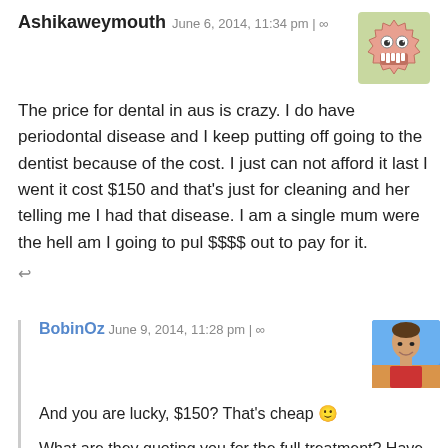Ashikaweymouth June 6, 2014, 11:34 pm | ∞
[Figure (illustration): Cartoon avatar of a pink gear/monster face with teeth and googly eyes]
The price for dental in aus is crazy. I do have periodontal disease and I keep putting off going to the dentist because of the cost. I just can not afford it last I went it cost $150 and that's just for cleaning and her telling me I had that disease. I am a single mum were the hell am I going to pul $$$$ out to pay for it.
←
BobinOz June 9, 2014, 11:28 pm | ∞
[Figure (photo): Photo of a man's face, portrait style]
And you are lucky, $150? That's cheap 🙂
What are they quoting you for the full treatment? Have